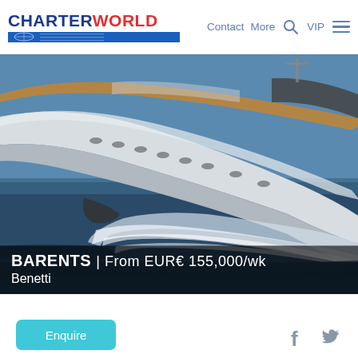CHARTERWORLD | Contact | More | VIP
[Figure (photo): Aerial/side view of a large white motor yacht named BARENTS (Benetti) cutting through dark blue ocean water, showing the bow and hull with white wake.]
BARENTS | From EUR€ 155,000/wk
Benetti
Enquire
Facebook and Twitter social icons